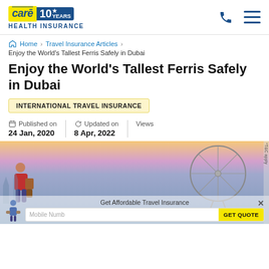Care Health Insurance logo — HEALTH INSURANCE, 10 years
Home > Travel Insurance Articles > Enjoy the World's Tallest Ferris Safely in Dubai
Enjoy the World's Tallest Ferris Safely in Dubai
INTERNATIONAL TRAVEL INSURANCE
Published on 24 Jan, 2020 | Updated on 8 Apr, 2022 | Views
[Figure (photo): A ferris wheel (Ain Dubai) at sunset with a traveler figure in foreground, and a Get Affordable Travel Insurance promo overlay with mobile number input and GET QUOTE button]